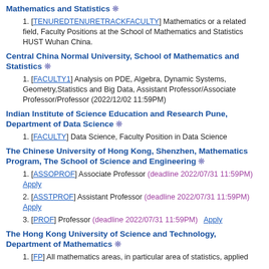Mathematics and Statistics ❊
[TENUREDTENURETRACKFACULTY] Mathematics or a related field, Faculty Positions at the School of Mathematics and Statistics HUST Wuhan China.
Central China Normal University, School of Mathematics and Statistics ❊
[FACULTY1] Analysis on PDE, Algebra, Dynamic Systems, Geometry,Statistics and Big Data, Assistant Professor/Associate Professor/Professor (2022/12/02 11:59PM)
Indian Institute of Science Education and Research Pune, Department of Data Science ❊
[FACULTY] Data Science, Faculty Position in Data Science
The Chinese University of Hong Kong, Shenzhen, Mathematics Program, The School of Science and Engineering ❊
[ASSOPROF] Associate Professor (deadline 2022/07/31 11:59PM) Apply
[ASSTPROF] Assistant Professor (deadline 2022/07/31 11:59PM) Apply
[PROF] Professor (deadline 2022/07/31 11:59PM) Apply
The Hong Kong University of Science and Technology, Department of Mathematics ❊
[FP] All mathematics areas, in particular area of statistics, applied